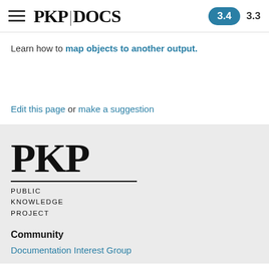PKP DOCS  3.4  3.3
Learn how to map objects to another output.
Edit this page or make a suggestion
[Figure (logo): PKP Public Knowledge Project logo with large serif PKP letters, a horizontal rule, and subtitle text PUBLIC KNOWLEDGE PROJECT]
Community
Documentation Interest Group